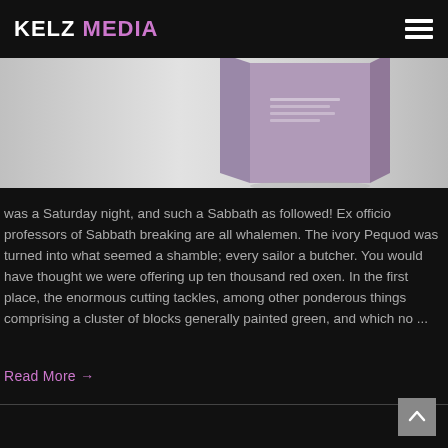KELZ MEDIA
[Figure (photo): Product photo showing a purple/grey box partially visible against a light grey background]
was a Saturday night, and such a Sabbath as followed! Ex officio professors of Sabbath breaking are all whalemen. The ivory Pequod was turned into what seemed a shamble; every sailor a butcher. You would have thought we were offering up ten thousand red oxen. In the first place, the enormous cutting tackles, among other ponderous things comprising a cluster of blocks generally painted green, and which no ...
Read More →